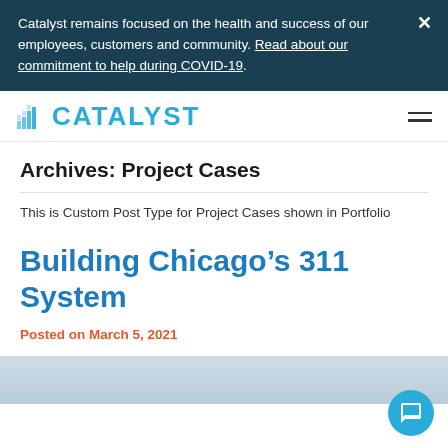Catalyst remains focused on the health and success of our employees, customers and community. Read about our commitment to help during COVID-19.
[Figure (logo): Catalyst logo with blue grid/chart icon and CATALYST text in blue]
Archives: Project Cases
This is Custom Post Type for Project Cases shown in Portfolio
Building Chicago’s 311 System
Posted on March 5, 2021
[Figure (photo): Partial image at bottom of page, light blue-gray sky scene]